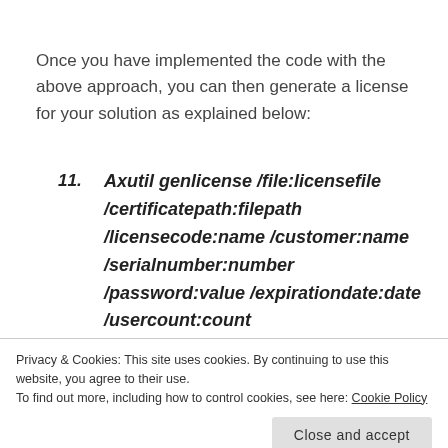Once you have implemented the code with the above approach, you can then generate a license for your solution as explained below:
11. Axutil genlicense /file:licensefile /certificatepath:filepath /licensecode:name /customer:name /serialnumber:number /password:value /expirationdate:date /usercount:count
1. /file:licensefile specifies the name of the
Privacy & Cookies: This site uses cookies. By continuing to use this website, you agree to their use.
To find out more, including how to control cookies, see here: Cookie Policy
Close and accept
X.509 certificate used on the licensed